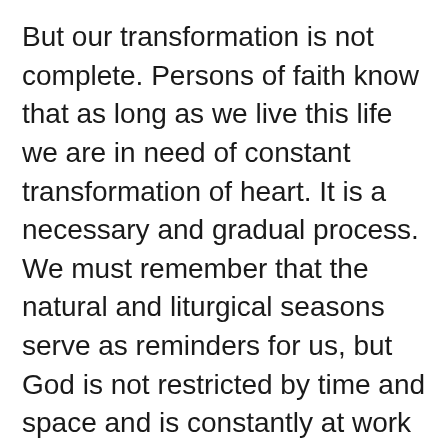But our transformation is not complete. Persons of faith know that as long as we live this life we are in need of constant transformation of heart. It is a necessary and gradual process. We must remember that the natural and liturgical seasons serve as reminders for us, but God is not restricted by time and space and is constantly at work in the world and in our hearts. Transformation takes time – God's time. It takes patience with God and with ourselves and with our weaknesses and missteps. It takes hope – hope in God and in his constant concern for us and for all of his creation. It takes faith – faith that God is God and he wants only what is best for us. And it takes unconditional love of God who showed us on the cross how he unconditionally